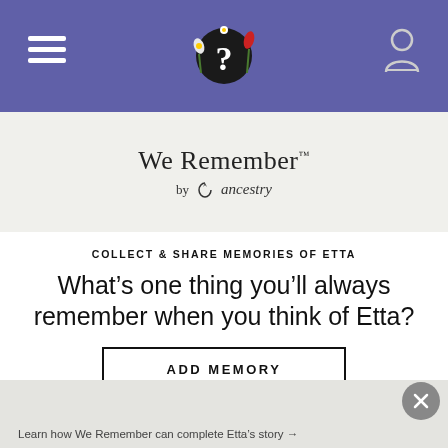We Remember by ancestry (navigation header with hamburger menu and user icon)
[Figure (logo): We Remember by ancestry logo with question mark icon surrounded by flowers]
We Remember™ by ancestry
COLLECT & SHARE MEMORIES OF ETTA
What’s one thing you’ll always remember when you think of Etta?
ADD MEMORY
Learn how We Remember can complete Etta’s story →